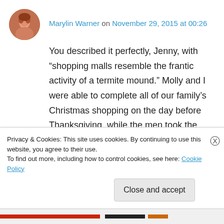Marylin Warner on November 29, 2015 at 00:26
You described it perfectly, Jenny, with “shopping malls resemble the frantic activity of a termite mound.” Molly and I were able to complete all of our family’s Christmas shopping on the day before Thanksgiving, while the men took the kids on a mountain hike.
We haven’t done that in years, and it was so much fun–and a relief–to have it finished before we even had turkey. Plus, we rewarded
Privacy & Cookies: This site uses cookies. By continuing to use this website, you agree to their use.
To find out more, including how to control cookies, see here: Cookie Policy
Close and accept